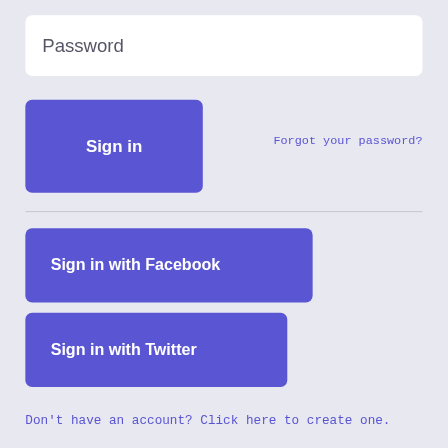Password
Sign in
Forgot your password?
Sign in with Facebook
Sign in with Twitter
Don't have an account? Click here to create one.
[Figure (illustration): Share/export icon button in blue rounded square]